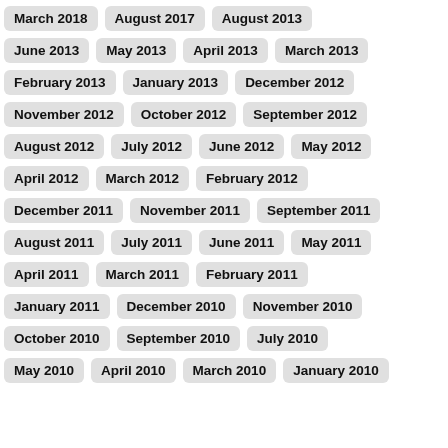March 2018
August 2017
August 2013
June 2013
May 2013
April 2013
March 2013
February 2013
January 2013
December 2012
November 2012
October 2012
September 2012
August 2012
July 2012
June 2012
May 2012
April 2012
March 2012
February 2012
December 2011
November 2011
September 2011
August 2011
July 2011
June 2011
May 2011
April 2011
March 2011
February 2011
January 2011
December 2010
November 2010
October 2010
September 2010
July 2010
May 2010
April 2010
March 2010
January 2010